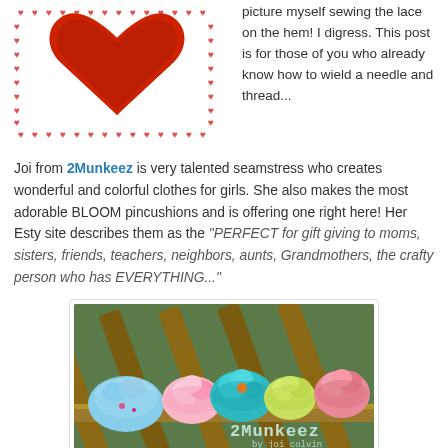[Figure (illustration): Pixel-art style red heart shape inside a border of small red hearts on white background]
picture myself sewing the lace on the hem! I digress. This post is for those of you who already know how to wield a needle and thread...
Joi from 2Munkeez is very talented seamstress who creates wonderful and colorful clothes for girls. She also makes the most adorable BLOOM pincushions and is offering one right here! Her Esty site describes them as the "PERFECT for gift giving to moms, sisters, friends, teachers, neighbors, aunts, Grandmothers, the crafty person who has EVERYTHING..."
[Figure (photo): Photo of colorful fabric flower-shaped BLOOM pincushions arranged on a wooden shelf/fence, with 2Munkeez watermark by joi colvin]